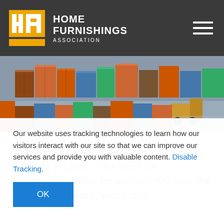HOME FURNISHINGS ASSOCIATION
[Figure (photo): Aerial view of shipping containers stacked at a port with trucks and logistics equipment visible.]
The supply chain crisis is nothing new for furniture retailers – it's been an unfortunate reality for our industry over the last several years, with many
Our website uses tracking technologies to learn how our visitors interact with our site so that we can improve our services and provide you with valuable content. Disable Tracking.
OK